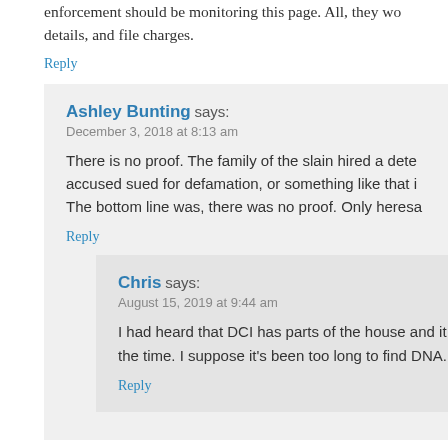enforcement should be monitoring this page. All, they wo... details, and file charges.
Reply
Ashley Bunting says:
December 3, 2018 at 8:13 am
There is no proof. The family of the slain hired a dete... accused sued for defamation, or something like that i... The bottom line was, there was no proof. Only heresa...
Reply
Chris says:
August 15, 2019 at 9:44 am
I had heard that DCI has parts of the house and it... the time. I suppose it's been too long to find DNA.
Reply
Ashley Van Zee says:
July 6, 2017 at 12:59 pm
I grew up in the big yellow house his son lived in, at the ti...